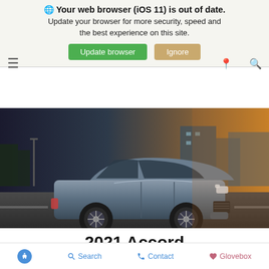Your web browser (iOS 11) is out of date. Update your browser for more security, speed and the best experience on this site.
Update browser | Ignore
[Figure (photo): A silver/gray Honda Accord sedan driving on a road in an urban setting, photographed from a three-quarter front angle with background blur suggesting motion. Warm sunset lighting.]
2021 Accord
Accessibility | Search | Contact | Glovebox